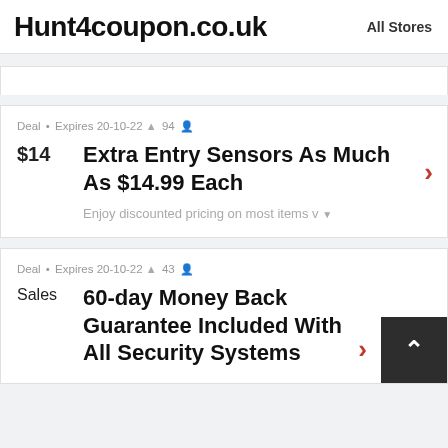Hunt4coupon.co.uk  All Stores
Deal • Expires 20-10-22 🔔 94 👤
$14
Extra Entry Sensors As Much As $14.99 Each
Enjoy discounted pricing on most items v
Deal • Expires 20-10-22 🔔 43 👤
Sales
60-day Money Back Guarantee Included With All Security Systems